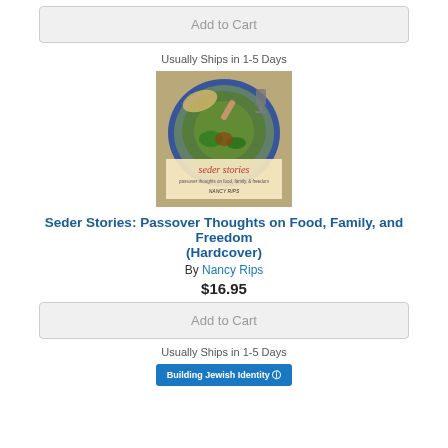Add to Cart
Usually Ships in 1-5 Days
[Figure (photo): Book cover image of 'Seder Stories: Passover Thoughts on Food, Family, and Freedom' by Nancy Rips, showing a seder plate with traditional foods and the book title overlaid]
Seder Stories: Passover Thoughts on Food, Family, and Freedom (Hardcover)
By Nancy Rips
$16.95
Add to Cart
Usually Ships in 1-5 Days
[Figure (illustration): Building Jewish Identity banner/button at bottom]